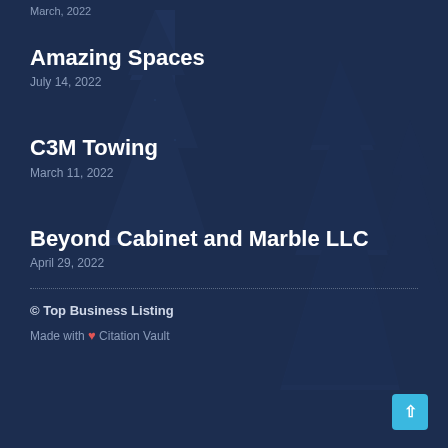March, 2022
Amazing Spaces
July 14, 2022
C3M Towing
March 11, 2022
Beyond Cabinet and Marble LLC
April 29, 2022
© Top Business Listing
Made with ❤ Citation Vault